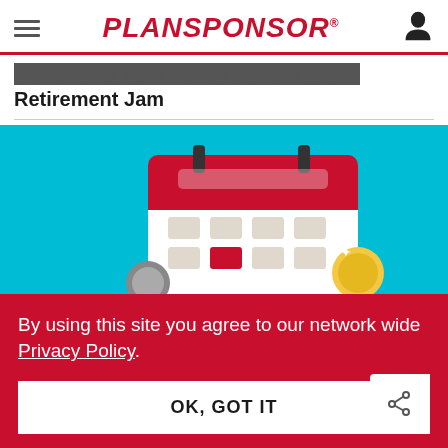PLANSPONSOR
Retirement Jam
[Figure (illustration): Cartoon illustration of a calendar with red header and white body showing date grid squares, with coins and a clock in the foreground on a teal background.]
By using this site you agree to our network wide Privacy Policy.
OK, GOT IT